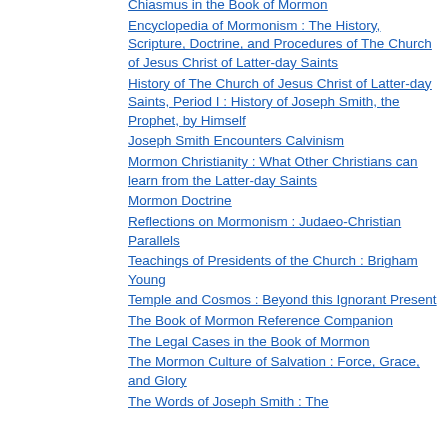Chiasmus in the Book of Mormon
Encyclopedia of Mormonism : The History, Scripture, Doctrine, and Procedures of The Church of Jesus Christ of Latter-day Saints
History of The Church of Jesus Christ of Latter-day Saints, Period I : History of Joseph Smith, the Prophet, by Himself
Joseph Smith Encounters Calvinism
Mormon Christianity : What Other Christians can learn from the Latter-day Saints
Mormon Doctrine
Reflections on Mormonism : Judaeo-Christian Parallels
Teachings of Presidents of the Church : Brigham Young
Temple and Cosmos : Beyond this Ignorant Present
The Book of Mormon Reference Companion
The Legal Cases in the Book of Mormon
The Mormon Culture of Salvation : Force, Grace, and Glory
The Words of Joseph Smith : The